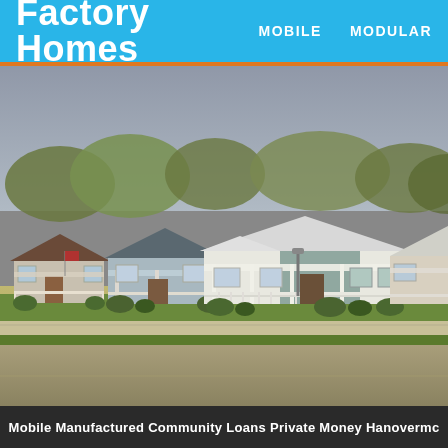Factory Homes
MOBILE   MODULAR
[Figure (photo): Street view of a row of single-story manufactured/mobile homes with white siding, covered front porches with white railings, manicured shrubs, a concrete sidewalk, and a wide paved road in the foreground. Trees visible in background.]
Mobile Manufactured Community Loans Private Money Hanovermc